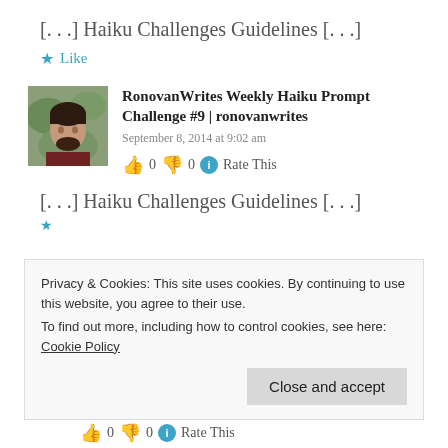[. . .] Haiku Challenges Guidelines [. . .]
★ Like
[Figure (photo): Avatar photo of a man in a dark red shirt against a green background]
RonovanWrites Weekly Haiku Prompt Challenge #9 | ronovanwrites
September 8, 2014 at 9:02 am
👍 0 👎 0 ℹ Rate This
[. . .] Haiku Challenges Guidelines [. . .]
★
Privacy & Cookies: This site uses cookies. By continuing to use this website, you agree to their use.
To find out more, including how to control cookies, see here: Cookie Policy
Close and accept
👍 0 👎 0 ℹ Rate This